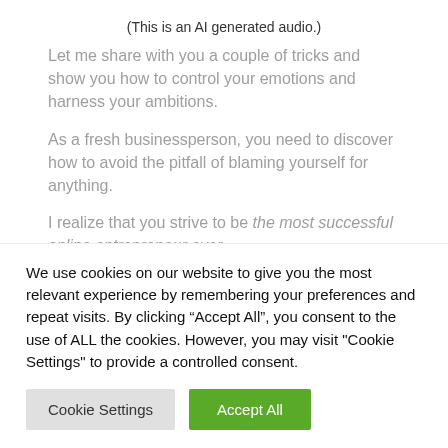(This is an AI generated audio.)
Let me share with you a couple of tricks and show you how to control your emotions and harness your ambitions.
As a fresh businessperson, you need to discover how to avoid the pitfall of blaming yourself for anything.
I realize that you strive to be the most successful online entrepreneur ever.
We use cookies on our website to give you the most relevant experience by remembering your preferences and repeat visits. By clicking “Accept All”, you consent to the use of ALL the cookies. However, you may visit "Cookie Settings" to provide a controlled consent.